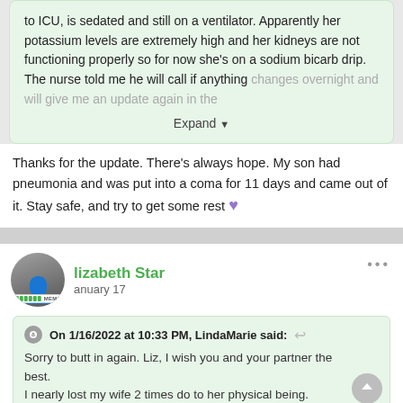to ICU, is sedated and still on a ventilator. Apparently her potassium levels are extremely high and her kidneys are not functioning properly so for now she's on a sodium bicarb drip. The nurse told me he will call if anything changes overnight and will give me an update again in the
Expand
Thanks for the update. There's always hope. My son had pneumonia and was put into a coma for 11 days and came out of it. Stay safe, and try to get some rest 💜
Elizabeth Star
January 17
On 1/16/2022 at 10:33 PM, LindaMarie said:
Sorry to butt in again. Liz, I wish you and your partner the best.
I nearly lost my wife 2 times do to her physical being.